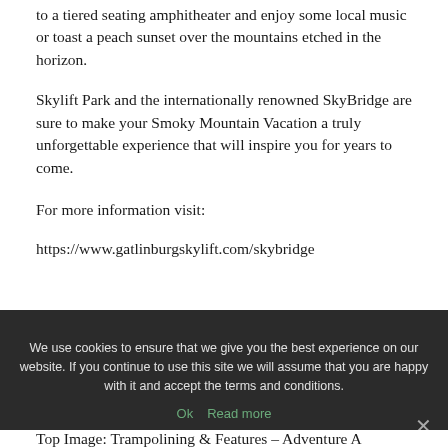to a tiered seating amphitheater and enjoy some local music or toast a peach sunset over the mountains etched in the horizon.
Skylift Park and the internationally renowned SkyBridge are sure to make your Smoky Mountain Vacation a truly unforgettable experience that will inspire you for years to come.
For more information visit:
https://www.gatlinburgskylift.com/skybridge
We use cookies to ensure that we give you the best experience on our website. If you continue to use this site we will assume that you are happy with it and accept the terms and conditions.
Ok   Read more
Top Image: Trampolining & Features – Adventure...